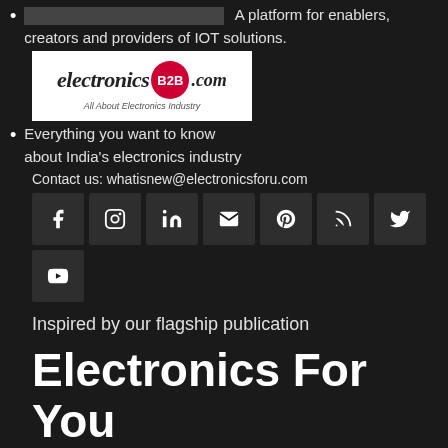A platform for enablers, creators and providers of IOT solutions.
[Figure (logo): electronicsB2B.com logo — white background, italic serif text 'electronics', red circle with 'B2B', '.com' text, tagline 'All About Electronics Industry']
Everything you want to know about India's electronics industry
Contact us: whatisnew@electronicsforu.com
[Figure (infographic): Row of social media icon buttons: Facebook, Instagram, LinkedIn, Email, Pinterest, RSS, Twitter; second row: YouTube]
Inspired by our flagship publication
Electronics For You
South Asia's Most Popular Electronics Magazine